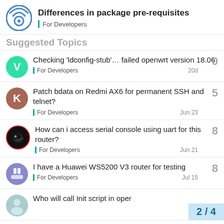Differences in package pre-requisites — For Developers
Suggested Topics
Checking 'ldconfig-stub'… failed openwrt version 18.06 | For Developers | 20d | 0 replies
Patch bdata on Redmi AX6 for permanent SSH and telnet? | For Developers | Jun 23 | 5 replies
How can i access serial console using uart for this router? | For Developers | Jun 21 | 8 replies
I have a Huawei WS5200 V3 router for testing | For Developers | Jul 15 | 8 replies
Who will call Init script in oper... | For Developers | 2 / 4